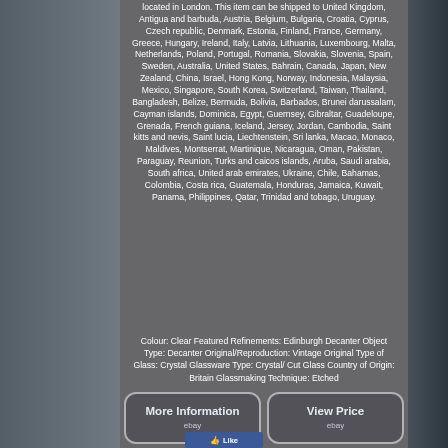located in London. This item can be shipped to United Kingdom, Antigua and barbuda, Austria, Belgium, Bulgaria, Croatia, Cyprus, Czech republic, Denmark, Estonia, Finland, France, Germany, Greece, Hungary, Ireland, Italy, Latvia, Lithuania, Luxembourg, Malta, Netherlands, Poland, Portugal, Romania, Slovakia, Slovenia, Spain, Sweden, Australia, United States, Bahrain, Canada, Japan, New Zealand, China, Israel, Hong Kong, Norway, Indonesia, Malaysia, Mexico, Singapore, South Korea, Switzerland, Taiwan, Thailand, Bangladesh, Belize, Bermuda, Bolivia, Barbados, Brunei darussalam, Cayman islands, Dominica, Egypt, Guernsey, Gibraltar, Guadeloupe, Grenada, French guiana, Iceland, Jersey, Jordan, Cambodia, Saint kitts and nevis, Saint lucia, Liechtenstein, Sri lanka, Macao, Monaco, Maldives, Montserrat, Martinique, Nicaragua, Oman, Pakistan, Paraguay, Reunion, Turks and caicos islands, Aruba, Saudi arabia, South africa, United arab emirates, Ukraine, Chile, Bahamas, Colombia, Costa rica, Guatemala, Honduras, Jamaica, Kuwait, Panama, Philippines, Qatar, Trinidad and tobago, Uruguay.
Colour: Clear Featured Refinements: Edinburgh Decanter Object Type: Decanter Original/Reproduction: Vintage Original Type of Glass: Crystal Glassware Type: Crystal/ Cut Glass Country of Origin: Britain Glassmaking Technique: Etched
[Figure (screenshot): Two eBay-style buttons: 'More Information' and 'View Price', each with ebay logo underneath, on a dark rounded rectangle background]
[Figure (other): Facebook Like button]